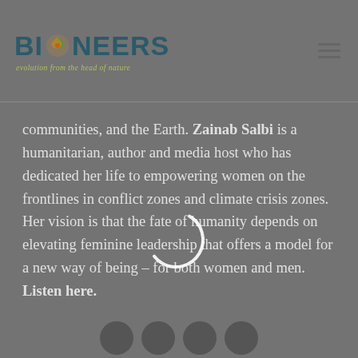BIONEERS - evolution from the head of nature
communities, and the Earth. Zainab Salbi is a humanitarian, author and media host who has dedicated her life to empowering women on the frontlines in conflict zones and climate crisis zones. Her vision is that the fate of humanity depends on elevating feminine leadership that offers a model for a new way of being – for both women and men. Listen here.
[Figure (other): Loading spinner (partial circle arc) overlaid on the text content]
[Figure (other): Social media icons (circular) at bottom of page - partially visible]